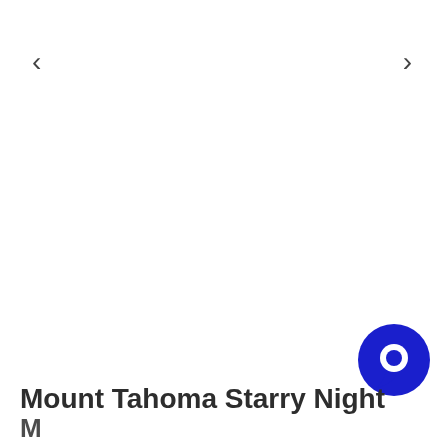[Figure (screenshot): Website product page screenshot showing navigation arrows on left and right, a large empty white image area (product image placeholder), a blue circular chat/messaging button in the lower right, and a product title 'Mount Tahoma Starry Night' at the bottom with partial subtitle text below.]
Mount Tahoma Starry Night